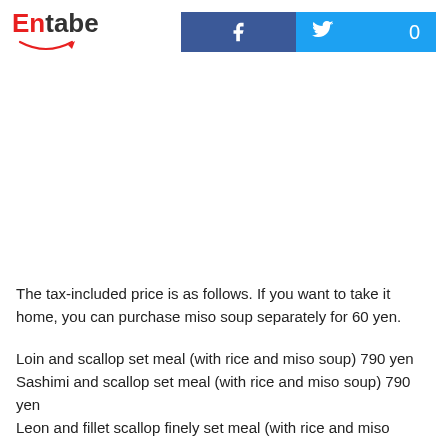Entabe
The tax-included price is as follows. If you want to take it home, you can purchase miso soup separately for 60 yen.
Loin and scallop set meal (with rice and miso soup) 790 yen
Sashimi and scallop set meal (with rice and miso soup) 790 yen
Lion and fillet scallop finely set meal (with rice and miso soup...